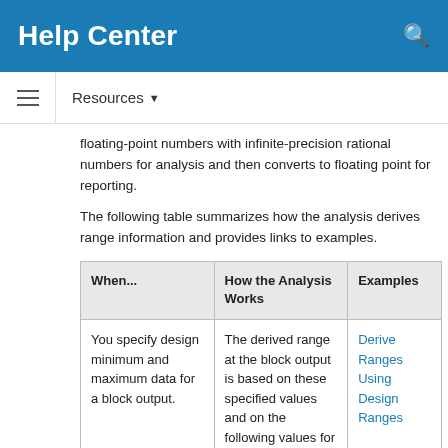Help Center
floating-point numbers with infinite-precision rational numbers for analysis and then converts to floating point for reporting.
The following table summarizes how the analysis derives range information and provides links to examples.
| When... | How the Analysis Works | Examples |
| --- | --- | --- |
| You specify design minimum and maximum data for a block output. | The derived range at the block output is based on these specified values and on the following values for blocks connected to its inputs and outputs:
• Specified minimum and maximum values | Derive Ranges Using Design Ranges |